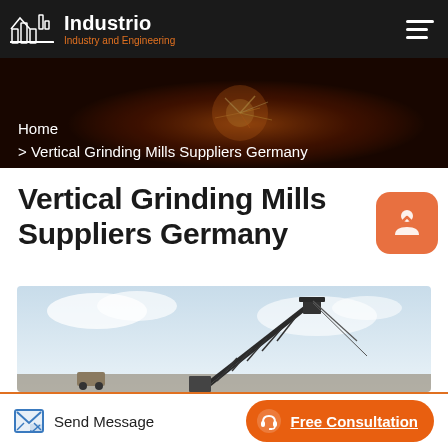Industrio | Industry and Engineering
[Figure (photo): Industrial welding scene with sparks flying, dark background hero banner]
Home
> Vertical Grinding Mills Suppliers Germany
Vertical Grinding Mills Suppliers Germany
[Figure (photo): Industrial conveyor or crane structure against a cloudy sky]
Send Message | Free Consultation